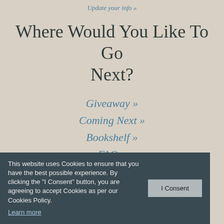Update your info »
Where Would You Like To Go Next?
Giveaway »
Coming Next »
Bookshelf »
FAQ »
Privacy »
This website uses Cookies to ensure that you have the best possible experience. By clicking the "I Consent" button, you are agreeing to accept Cookies as per our Cookies Policy. Learn more